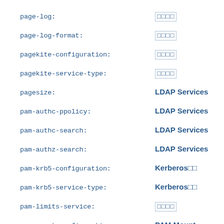page-log: □□□□
page-log-format: □□□□
pagekite-configuration: □□□□
pagekite-service-type: □□□□
pagesize: LDAP Services
pam-authc-ppolicy: LDAP Services
pam-authc-search: LDAP Services
pam-authz-search: LDAP Services
pam-krb5-configuration: Kerberos□□
pam-krb5-service-type: Kerberos□□
pam-limits-service: □□□□
pam-mount-configuration: PAM Mount Service
pam-password-prohibit-message: LDAP Services